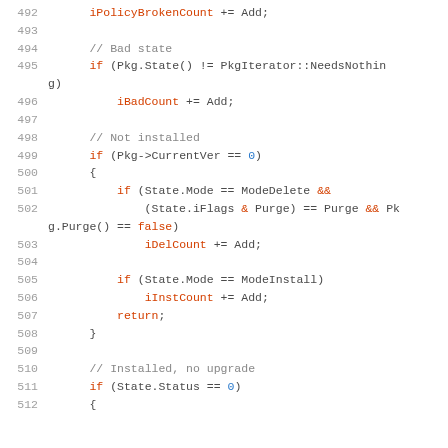[Figure (screenshot): Source code listing lines 492-512 in C++ showing package state checking logic with keywords highlighted in red, comments in gray, and numeric literals in blue]